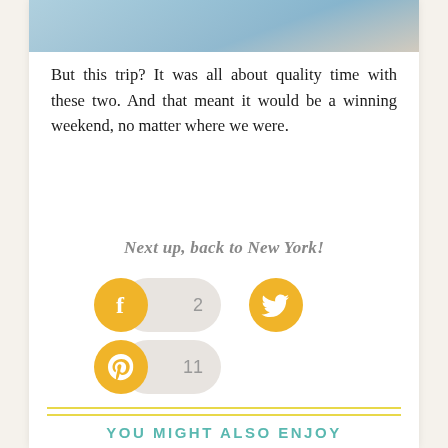[Figure (photo): Top portion of a photo showing a person from the chest up, partially cropped at the top]
But this trip? It was all about quality time with these two. And that meant it would be a winning weekend, no matter where we were.
Next up, back to New York!
[Figure (infographic): Social sharing buttons: Facebook with count 2, Twitter, Pinterest with count 11]
YOU MIGHT ALSO ENJOY
[Figure (photo): Bottom photo partially visible showing a blue sky background]